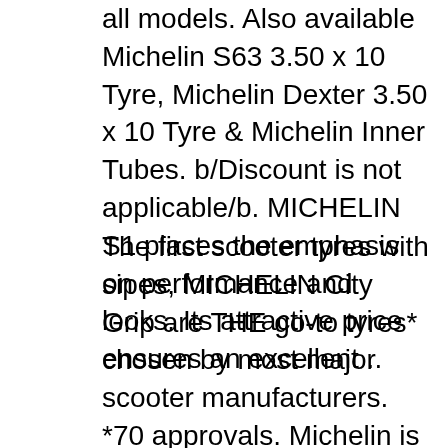all models. Also available Michelin S63 3.50 x 10 Tyre, Michelin Dexter 3.50 x 10 Tyre & Michelin Inner Tubes. b/Discount is not applicable/b. MICHELIN S1 places the emphasis on performance and looks. Its attractive price ensures an excellent ..
The first scooter tyres with sipes, MICHELIN City Grip are THE go-to tyres* chosen by most major scooter manufacturers. *70 approvals. Michelin is the market leader for scooters in Europe. Buy Michelin S1 56 J Tyres EAN: 3528701046976 online now at and compare with 645 other tyres (Date 06.01.2020) For full functionality of this page it is necessary to enable